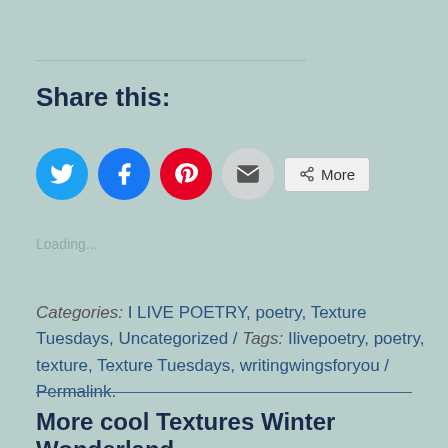Share this:
[Figure (infographic): Social sharing buttons: Twitter (blue circle), Facebook (blue circle), Pinterest (red circle), Email (grey circle), and a More button]
Loading...
Categories: I LIVE POETRY, poetry, Texture Tuesdays, Uncategorized / Tags: Ilivepoetry, poetry, texture, Texture Tuesdays, writingwingsforyou / Permalink.
More cool Textures Winter Wonderland